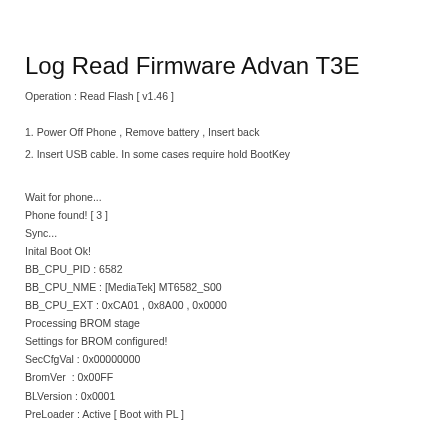Log Read Firmware Advan T3E
Operation : Read Flash [ v1.46 ]
1. Power Off Phone , Remove battery , Insert back
2. Insert USB cable. In some cases require hold BootKey
Wait for phone...
Phone found! [ 3 ]
Sync...
Inital Boot Ok!
BB_CPU_PID : 6582
BB_CPU_NME : [MediaTek] MT6582_S00
BB_CPU_EXT : 0xCA01 , 0x8A00 , 0x0000
Processing BROM stage
Settings for BROM configured!
SecCfgVal : 0x00000000
BromVer  : 0x00FF
BLVersion : 0x0001
PreLoader : Active [ Boot with PL ]